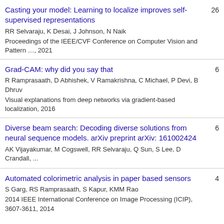Casting your model: Learning to localize improves self-supervised representations | RR Selvaraju, K Desai, J Johnson, N Naik | Proceedings of the IEEE/CVF Conference on Computer Vision and Pattern …, 2021 | 26
Grad-CAM: why did you say that | R Ramprasaath, D Abhishek, V Ramakrishna, C Michael, P Devi, B Dhruv | Visual explanations from deep networks via gradient-based localization, 2016 | 6
Diverse beam search: Decoding diverse solutions from neural sequence models. arXiv preprint arXiv: 161002424 | AK Vijayakumar, M Cogswell, RR Selvaraju, Q Sun, S Lee, D Crandall, ... | 6
Automated colorimetric analysis in paper based sensors | S Garg, RS Ramprasaath, S Kapur, KMM Rao | 2014 IEEE International Conference on Image Processing (ICIP), 3607-3611, 2014 | 4